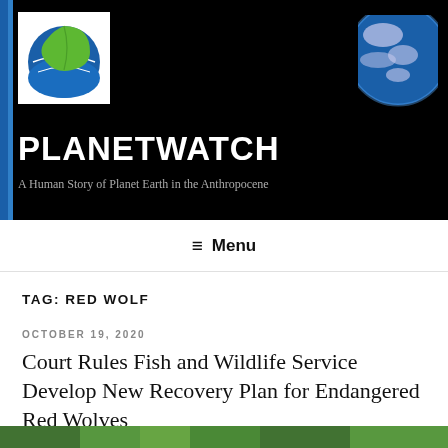[Figure (logo): PlanetWatch logo: globe shape with green leaf and blue earth design on white background]
[Figure (photo): Partial view of planet Earth from space against black background]
PLANETWATCH
A Human Story of Planet Earth in the Anthropocene
≡ Menu
TAG: RED WOLF
OCTOBER 19, 2020
Court Rules Fish and Wildlife Service Develop New Recovery Plan for Endangered Red Wolves
[Figure (photo): Partial bottom strip showing green vegetation/nature image]